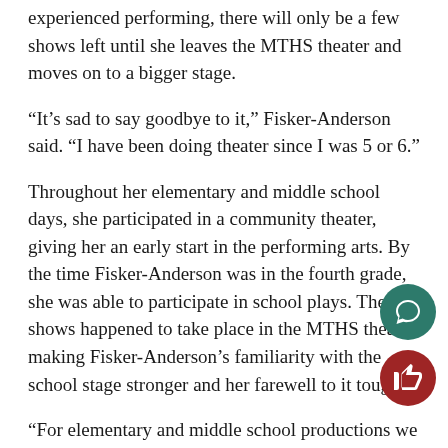…experienced performing, there will only be a few shows left until she leaves the MTHS theater and moves on to a bigger stage.
“It’s sad to say goodbye to it,” Fisker-Anderson said. “I have been doing theater since I was 5 or 6.”
Throughout her elementary and middle school days, she participated in a community theater, giving her an early start in the performing arts. By the time Fisker-Anderson was in the fourth grade, she was able to participate in school plays. These shows happened to take place in the MTHS theater, making Fisker-Anderson’s familiarity with the school stage stronger and her farewell to it tougher.
“For elementary and middle school productions we had lights, curtains, really nice costumes and really nice sets,” she said. “It was like a high school level production.”
Being so involved with the performing arts at a young age…